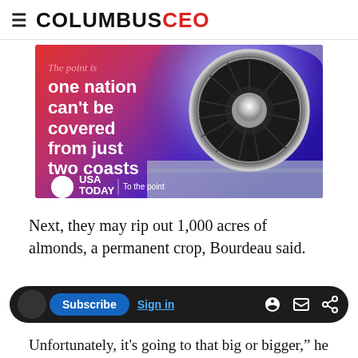COLUMBUSCEO
[Figure (illustration): USA Today advertisement. Purple/coral gradient background with jet engine photo. Text reads: 'The point is one nation can't be covered from just two coasts. USA TODAY | To the point']
Next, they may rip out 1,000 acres of almonds, a permanent crop, Bourdeau said.
Unfortunately, it's going to that big or bigger," he